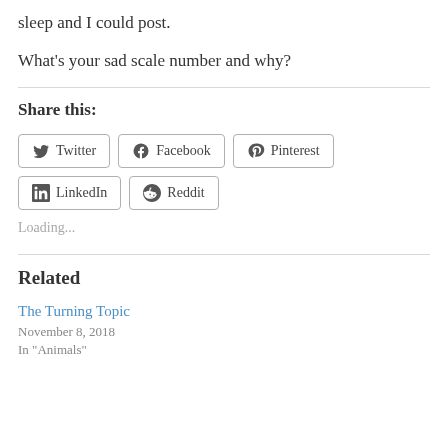sleep and I could post.
What's your sad scale number and why?
Share this:
Twitter  Facebook  Pinterest  LinkedIn  Reddit
Loading...
Related
The Turning Topic
November 8, 2018
In "Animals"